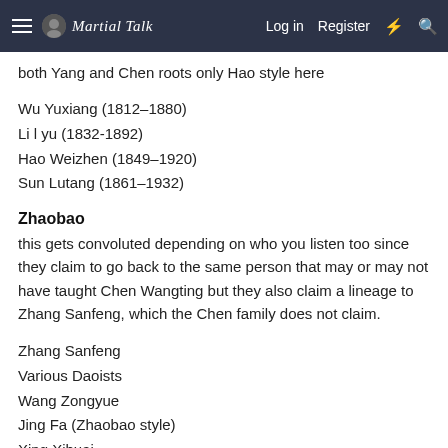Martial Talk — Log in  Register
both Yang and Chen roots only Hao style here
Wu Yuxiang (1812–1880)
Li l yu (1832-1892)
Hao Weizhen (1849–1920)
Sun Lutang (1861–1932)
Zhaobao
this gets convoluted depending on who you listen too since they claim to go back to the same person that may or may not have taught Chen Wangting but they also claim a lineage to Zhang Sanfeng, which the Chen family does not claim.
Zhang Sanfeng
Various Daoists
Wang Zongyue
Jing Fa (Zhaobao style)
Xing Xihuai
Zhang Chuchen